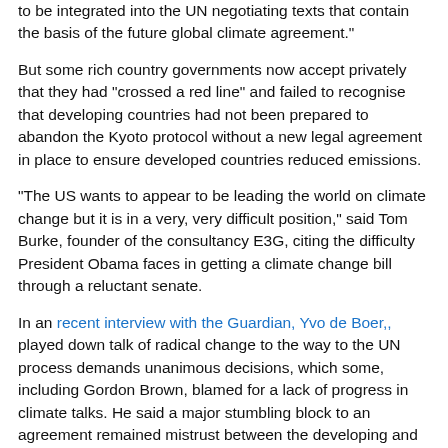to be integrated into the UN negotiating texts that contain the basis of the future global climate agreement."
But some rich country governments now accept privately that they had "crossed a red line" and failed to recognise that developing countries had not been prepared to abandon the Kyoto protocol without a new legal agreement in place to ensure developed countries reduced emissions.
"The US wants to appear to be leading the world on climate change but it is in a very, very difficult position," said Tom Burke, founder of the consultancy E3G, citing the difficulty President Obama faces in getting a climate change bill through a reluctant senate.
In an recent interview with the Guardian, Yvo de Boer,, played down talk of radical change to the way to the UN process demands unanimous decisions, which some, including Gordon Brown, blamed for a lack of progress in climate talks. He said a major stumbling block to an agreement remained mistrust between the developing and developed countries over the finance needed to help countries adapt to the impacts of global warming.
Rich countries had offered "recycled contributions from the past" he said, while the build-up to the Copenhagen summit had focused too much on the issue of binding emission reduction targets. De Boer has announced he will step down from the UNFCCC in July. Yesterday, the South African tourism minister, Marthinus van